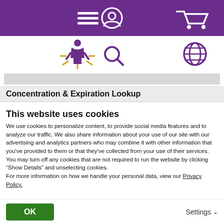[Figure (screenshot): Purple navigation bar with hamburger menu icon, user/account icon, and shopping cart icon in white]
[Figure (screenshot): White header bar with a yellow/purple figure logo on left, search magnifier icon in center, and globe icon on right]
[Figure (screenshot): Grey search input bar]
Concentration & Expiration Lookup
This website uses cookies
We use cookies to personalize content, to provide social media features and to analyze our traffic.  We also share information about your use of our site with our advertising and analytics partners who may combine it with other information that you've provided to them or that they've collected from your use of their services. You may turn off any cookies that are not required to run the website by clicking “Show Details” and unselecting cookies.
For more information on how we handle your personal data, view our Privacy Policy.
OK
Settings